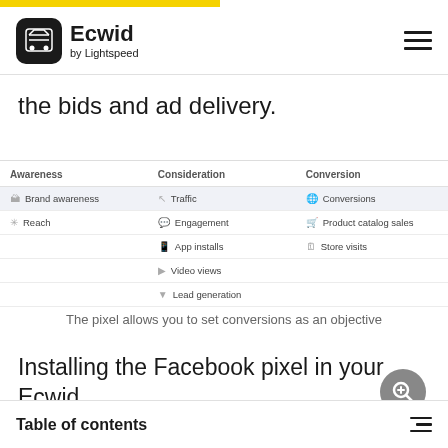Ecwid by Lightspeed
the bids and ad delivery.
[Figure (screenshot): Facebook Ads Manager campaign objective selection screen showing three columns: Awareness (Brand awareness, Reach), Consideration (Traffic, Engagement, App installs, Video views, Lead generation), and Conversion (Conversions, Product catalog sales, Store visits). A magnifying glass / search circle icon is overlaid on the Conversions option.]
The pixel allows you to set conversions as an objective
Installing the Facebook pixel in your Ecwid
Table of contents